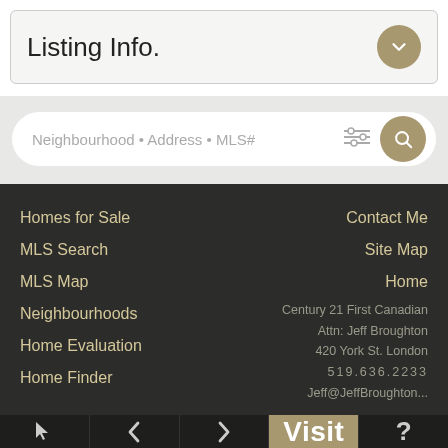Listing Info.
Neighbourhood • Address • MLS#
Homes for Sale
MLS Search
MLS Map
Neighbourhoods
Home Evaluation
Home Finder
Contact Me
Site Map
Home
Century 21 First Canadian
Attn: Jeff Broughton
420 York St. London
519.636.2233
Jeff@JeffBroughton...
Visit